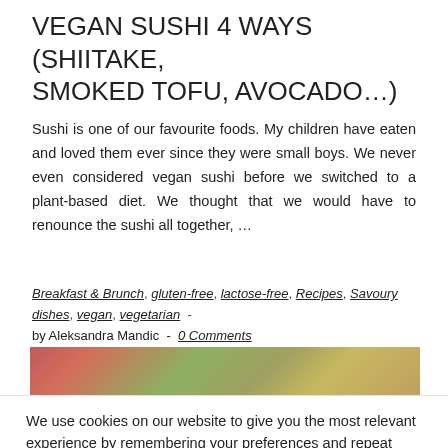VEGAN SUSHI 4 WAYS (SHIITAKE, SMOKED TOFU, AVOCADO…)
Sushi is one of our favourite foods. My children have eaten and loved them ever since they were small boys. We never even considered vegan sushi before we switched to a plant-based diet. We thought that we would have to renounce the sushi all together, …
Breakfast & Brunch, gluten-free, lactose-free, Recipes, Savoury dishes, vegan, vegetarian - by Aleksandra Mandic - 0 Comments
[Figure (photo): Partial view of colorful sushi dish photo strip]
We use cookies on our website to give you the most relevant experience by remembering your preferences and repeat visits. By clicking "Accept All", you consent to the use of ALL the cookies. However, you may visit "Cookie Settings" to provide a controlled consent.